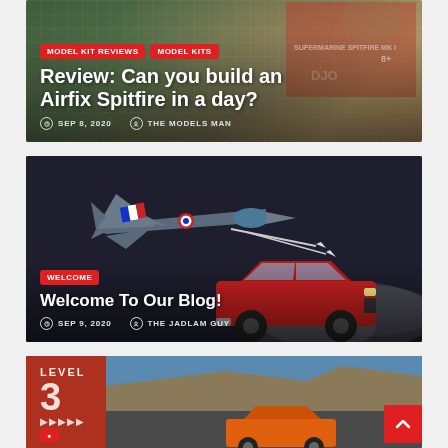[Figure (photo): Blog post card 1: Model kit on green cutting mat with model box in background. Categories: MODEL KIT REVIEWS, MODEL KITS. Title: Review: Can you build an Airfix Spitfire in a day? Date: SEP 8, 2020. Author: THE MODELS MAN.]
[Figure (photo): Blog post card 2: Jet fighter aircraft launching missiles on dark background with red classic car. Category: WELCOME. Title: Welcome To Our Blog! Date: SEP 9, 2020. Author: THE JADLAM GUY.]
[Figure (photo): Blog post card 3 (partially visible): Level 3 text with arrows, car on coastal cliff road background.]